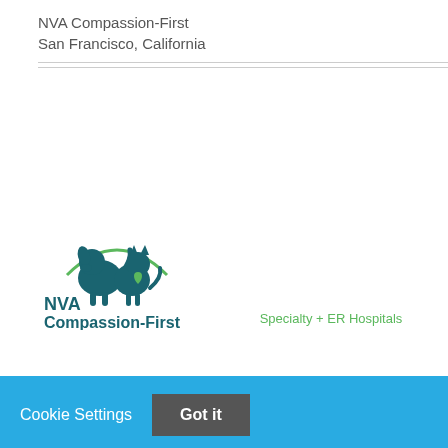NVA Compassion-First
San Francisco, California
[Figure (logo): NVA Compassion-First Specialty + ER Hospitals logo with dog and cat silhouettes and green arc]
Cookie Settings   Got it
We use cookies so that we can remember you and understand how you use our site. If you do not agree with our use of cookies, please change the current settings found in our Cookie Policy. Otherwise, you agree to the use of the cookies as they are currently set.